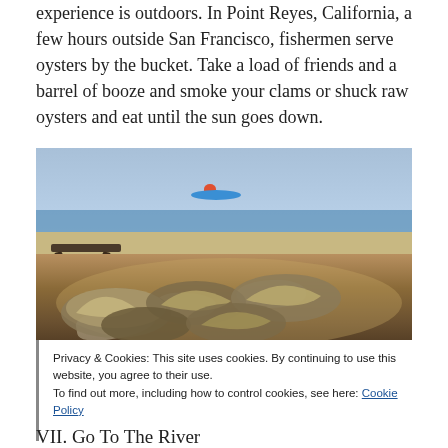experience is outdoors. In Point Reyes, California, a few hours outside San Francisco, fishermen serve oysters by the bucket. Take a load of friends and a barrel of booze and smoke your clams or shuck raw oysters and eat until the sun goes down.
[Figure (photo): Photo of oysters on a wooden plate on a beach, with a picnic table in the background and a kayaker visible on the water.]
Privacy & Cookies: This site uses cookies. By continuing to use this website, you agree to their use.
To find out more, including how to control cookies, see here: Cookie Policy
Close and accept
VII. Go To The River